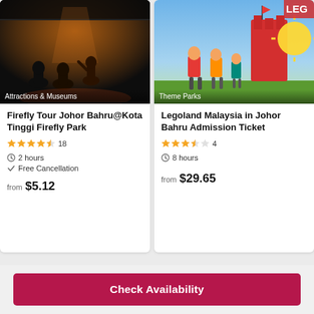[Figure (photo): Night scene — people watching a performance or show outdoors under a canopy/tent. Dark atmosphere with warm orange/red stage lighting.]
Attractions & Museums
Firefly Tour Johor Bahru@Kota Tinggi Firefly Park
★★★★½ 18
⊙ 2 hours
✓ Free Cancellation
from $5.12
[Figure (photo): Legoland Malaysia theme park. Children and adults running in front of colorful LEGO-style structures and signage. Bright daytime scene.]
Theme Parks
Legoland Malaysia in Johor Bahru Admission Ticket
★★★½☆ 4
⊙ 8 hours
from $29.65
Check Availability